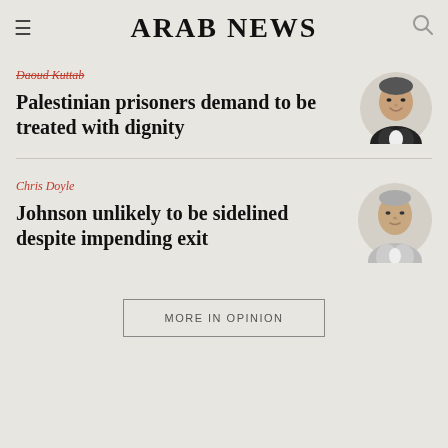ARAB NEWS
Daoud Kuttab
Palestinian prisoners demand to be treated with dignity
[Figure (photo): Headshot of Daoud Kuttab, a middle-aged man in a dark suit, smiling]
Chris Doyle
Johnson unlikely to be sidelined despite impending exit
[Figure (photo): Headshot of Chris Doyle, a man in a light shirt, looking forward]
MORE IN OPINION